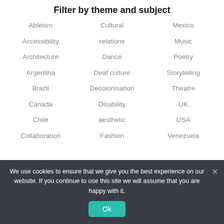Filter by theme and subject
Ableism
Cultural
Mexico
Accessibility
relations
Music
Architecture
Dance
Poetry
Argentina
Deaf culture
Storytelling
Brazil
Decolonisation
Theatre
Canada
Disability
UK
Chile
aesthetic
USA
Collaboration
Fashion
Venezuela
We use cookies to ensure that we give you the best experience on our website. If you continue to use this site we will assume that you are happy with it.